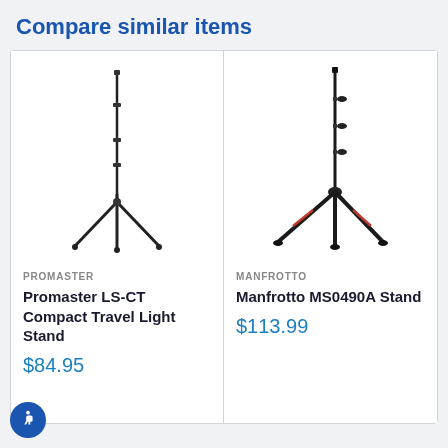Compare similar items
[Figure (photo): Promaster LS-CT Compact Travel Light Stand - a tall thin tripod-style black light stand with telescoping pole]
PROMASTER
Promaster LS-CT Compact Travel Light Stand
$84.95
[Figure (photo): Manfrotto MS0490A Stand - a black tripod light stand with red accent legs and multiple locking knobs]
MANFROTTO
Manfrotto MS0490A Stand
$113.99